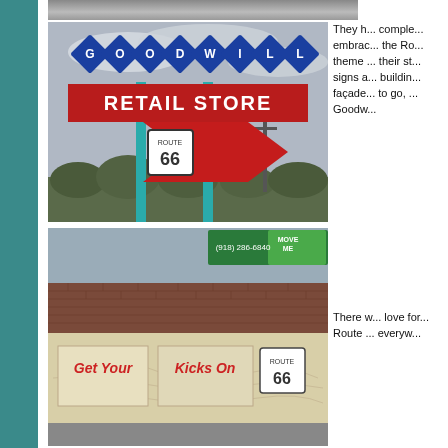[Figure (photo): Goodwill Retail Store sign with Route 66 shield and red arrow, against cloudy sky with trees]
They h... comple... embrac... the Ro... theme ... their st... signs a... buildin... façade... to go, ... Goodw...
[Figure (photo): Brick building exterior with Route 66 mural reading 'Get Your Kicks On' with Route 66 shield, and billboard showing (918) 286-6840]
There w... love for... Route ... everyw...
LINGS.COM